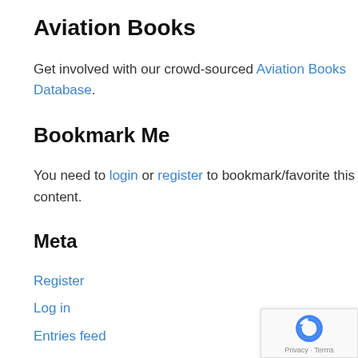Aviation Books
Get involved with our crowd-sourced Aviation Books Database.
Bookmark Me
You need to login or register to bookmark/favorite this content.
Meta
Register
Log in
Entries feed
Comments feed